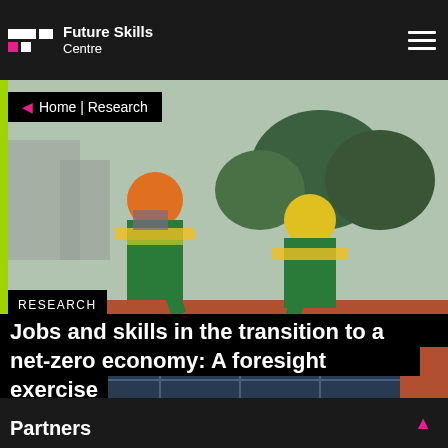Future Skills Centre
Home | Research
[Figure (photo): Two construction workers wearing hard hats and high-visibility vests installing solar panels on a rooftop, with trees and buildings in the background.]
RESEARCH
Jobs and skills in the transition to a net-zero economy: A foresight exercise
Partners